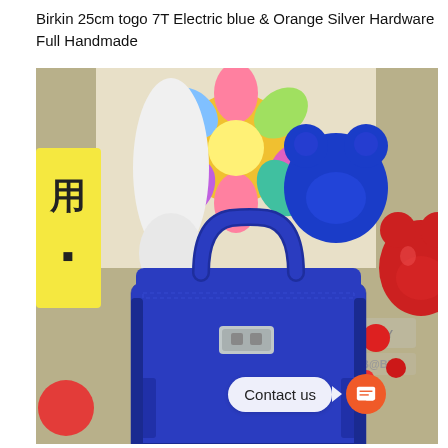Birkin 25cm togo 7T Electric blue & Orange Silver Hardware Full Handmade
[Figure (photo): A blue Hermès Birkin 25cm handbag in electric blue togo leather with silver hardware, photographed from above on a decorative background with colorful toys including a blue bear figure, a red metallic bear figure, a white figure, and colorful pop-art style items. A 'B@BY' label is visible on the right side.]
Contact us